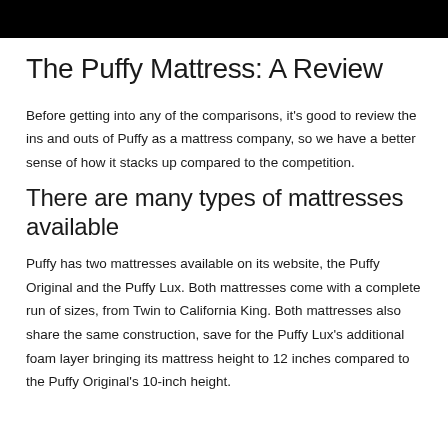[Figure (other): Black header bar image at top of page]
The Puffy Mattress: A Review
Before getting into any of the comparisons, it’s good to review the ins and outs of Puffy as a mattress company, so we have a better sense of how it stacks up compared to the competition.
There are many types of mattresses available
Puffy has two mattresses available on its website, the Puffy Original and the Puffy Lux. Both mattresses come with a complete run of sizes, from Twin to California King. Both mattresses also share the same construction, save for the Puffy Lux’s additional foam layer bringing its mattress height to 12 inches compared to the Puffy Original’s 10-inch height.